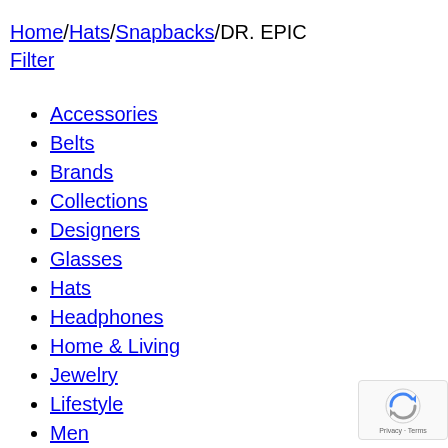Home/Hats/Snapbacks/DR. EPIC
Filter
Accessories
Belts
Brands
Collections
Designers
Glasses
Hats
Headphones
Home & Living
Jewelry
Lifestyle
Men
Music
Sale
Shoes
Sports
Staffpick
Uncategorized
Vintage
Watches
[Figure (logo): reCAPTCHA badge with Google logo and Privacy - Terms text]